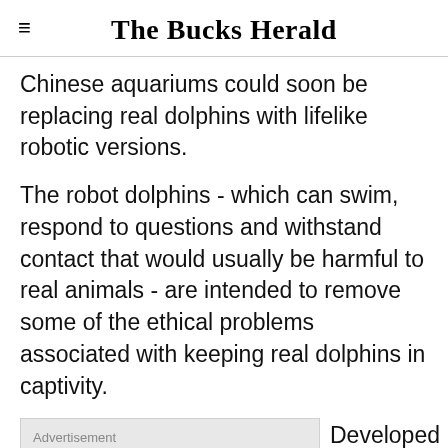The Bucks Herald
Chinese aquariums could soon be replacing real dolphins with lifelike robotic versions.
The robot dolphins - which can swim, respond to questions and withstand contact that would usually be harmful to real animals - are intended to remove some of the ethical problems associated with keeping real dolphins in captivity.
Advertisement  Developed by entrepreneurs in New Zealand and American creators of some of Hollywood's most famous